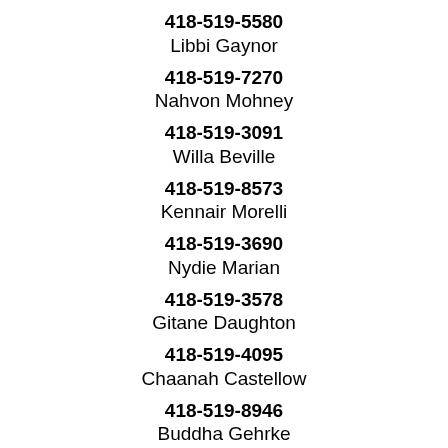418-519-5580
Libbi Gaynor
418-519-7270
Nahvon Mohney
418-519-3091
Willa Beville
418-519-8573
Kennair Morelli
418-519-3690
Nydie Marian
418-519-3578
Gitane Daughton
418-519-4095
Chaanah Castellow
418-519-8946
Buddha Gehrke
418-519-0947
Taariq Zukoski